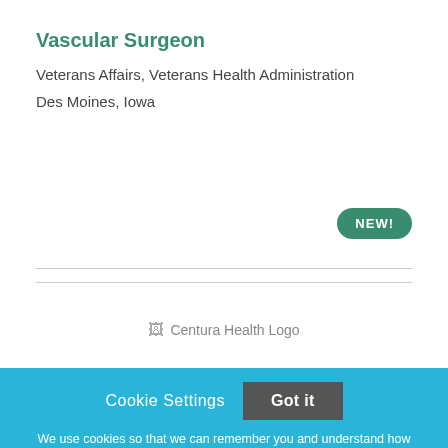Vascular Surgeon
Veterans Affairs, Veterans Health Administration
Des Moines, Iowa
[Figure (logo): Centura Health Logo (broken image placeholder)]
Cookie Settings  Got it
We use cookies so that we can remember you and understand how you use our site. If you do not agree with our use of cookies, please change the current settings found in our Cookie Policy. Otherwise, you agree to the use of the cookies as they are currently set.